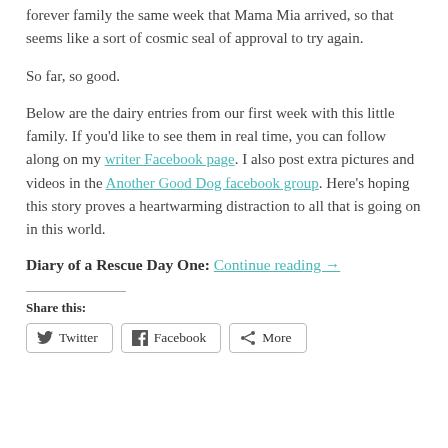forever family the same week that Mama Mia arrived, so that seems like a sort of cosmic seal of approval to try again.
So far, so good.
Below are the dairy entries from our first week with this little family. If you'd like to see them in real time, you can follow along on my writer Facebook page. I also post extra pictures and videos in the Another Good Dog facebook group. Here's hoping this story proves a heartwarming distraction to all that is going on in this world.
Diary of a Rescue Day One: Continue reading →
Share this:
Twitter | Facebook | More